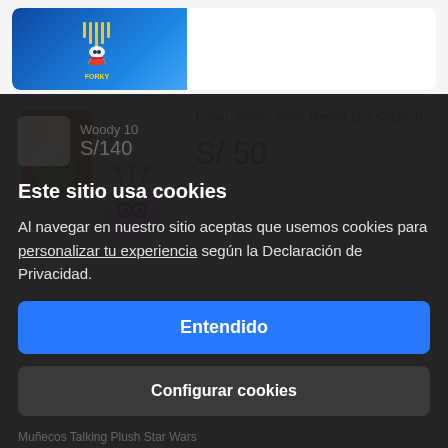[Figure (photo): Partial product card showing a Forky Talking Action Figure toy box with blue background at the top of the page]
[Figure (photo): Funko Pop! Alien Remix Dot Original product listing with green alien and purple Dot figure, heart/wishlist icon visible]
Funko Pop! - Alien Remix Dot Original
S/ 50
Este sitio usa cookies
Al navegar en nuestro sitio aceptas que usemos cookies para personalizar tu experiencia según la Declaración de Privacidad.
Woody 10
S/140
Entendido
Configurar cookies
Muñecos Talking Plush Star Wars